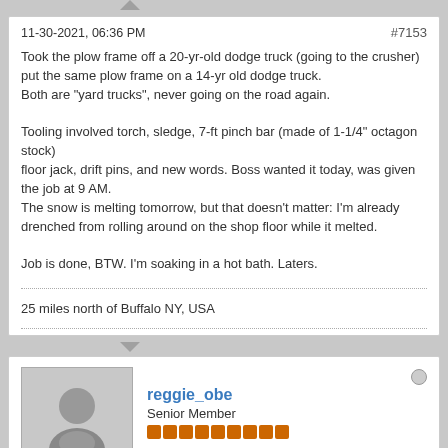11-30-2021, 06:36 PM  #7153
Took the plow frame off a 20-yr-old dodge truck (going to the crusher) put the same plow frame on a 14-yr old dodge truck.
Both are "yard trucks", never going on the road again.

Tooling involved torch, sledge, 7-ft pinch bar (made of 1-1/4" octagon stock)
floor jack, drift pins, and new words. Boss wanted it today, was given the job at 9 AM.
The snow is melting tomorrow, but that doesn't matter: I'm already drenched from rolling around on the shop floor while it melted.

Job is done, BTW. I'm soaking in a hot bath. Laters.
25 miles north of Buffalo NY, USA
reggie_obe
Senior Member
Join Date: Jun 2004  Posts: 3906
11-30-2021, 07:01 PM  #7154